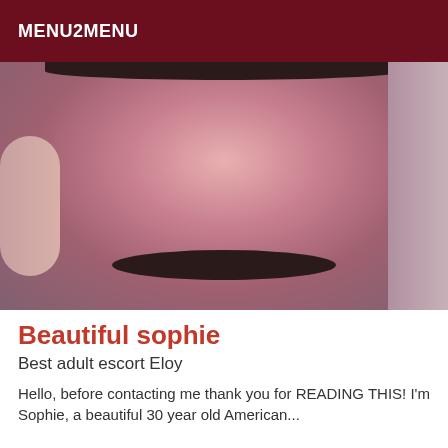MENU2MENU
[Figure (photo): Close-up photo of a person's torso wearing dark underwear, pinkish-reddish toned image]
Beautiful sophie
Best adult escort Eloy
Hello, before contacting me thank you for READING THIS! I'm...